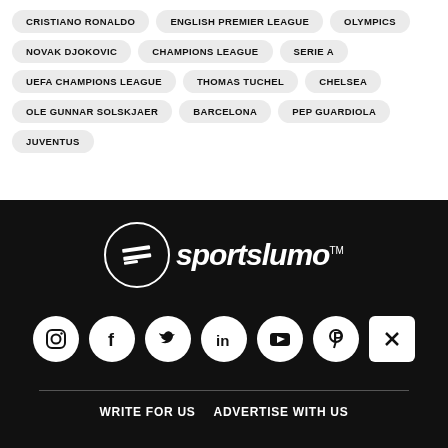CRISTIANO RONALDO
ENGLISH PREMIER LEAGUE
OLYMPICS
NOVAK DJOKOVIC
CHAMPIONS LEAGUE
SERIE A
UEFA CHAMPIONS LEAGUE
THOMAS TUCHEL
CHELSEA
OLE GUNNAR SOLSKJAER
BARCELONA
PEP GUARDIOLA
JUVENTUS
[Figure (logo): Sportslumo logo with circular emblem and italic text reading 'sportslumo' with TM mark]
[Figure (infographic): Social media icons: Instagram, Facebook, Twitter, LinkedIn, YouTube, Pinterest, and a close/X button]
WRITE FOR US   ADVERTISE WITH US